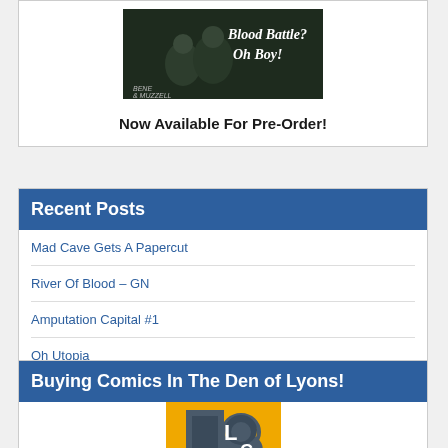[Figure (illustration): Comic book cover image with dark background showing figures and text 'Blood Battle? Oh Boy!' and 'BENE & MUZZELL']
Now Available For Pre-Order!
Recent Posts
Mad Cave Gets A Papercut
River Of Blood – GN
Amputation Capital #1
Oh Utopia
Through Your Lens
Buying Comics In The Den of Lyons!
[Figure (logo): LCS logo - yellow/gold background with grey door and lion graphic, letters L C S]